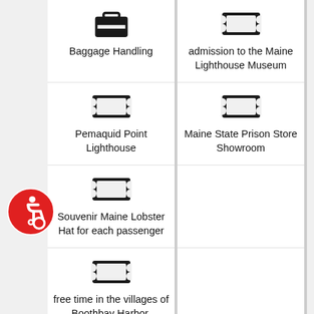Baggage Handling
admission to the Maine Lighthouse Museum
Pemaquid Point Lighthouse
Maine State Prison Store Showroom
Souvenir Maine Lobster Hat for each passenger
free time in the villages of Boothbay Harbor, Rockland, and Kennebunkport